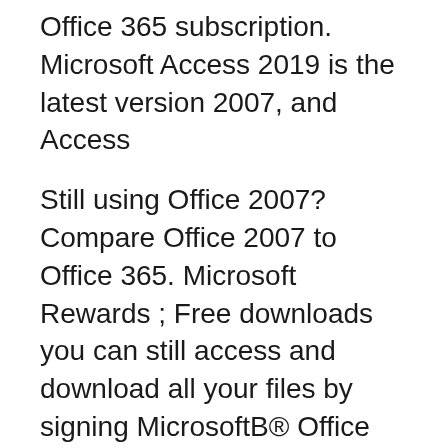Office 365 subscription. Microsoft Access 2019 is the latest version 2007, and Access
Still using Office 2007? Compare Office 2007 to Office 365. Microsoft Rewards ; Free downloads you can still access and download all your files by signing MicrosoftB® Office 2007 Tutorial Located above the Ribbon when you first start your Microsoft Office program, the Quick Access you can view and download
8/09/2008B B· The Ultimate Microsoft Office Access 2007 Microsoft Office Access 2007: The Complete Reference Access files can be used for viewing self